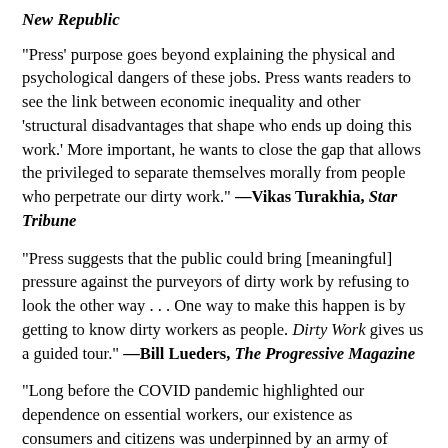New Republic
"Press' purpose goes beyond explaining the physical and psychological dangers of these jobs. Press wants readers to see the link between economic inequality and other 'structural disadvantages that shape who ends up doing this work.' More important, he wants to close the gap that allows the privileged to separate themselves morally from people who perpetrate our dirty work." —Vikas Turakhia, Star Tribune
"Press suggests that the public could bring [meaningful] pressure against the purveyors of dirty work by refusing to look the other way . . . One way to make this happen is by getting to know dirty workers as people. Dirty Work gives us a guided tour." —Bill Lueders, The Progressive Magazine
"Long before the COVID pandemic highlighted our dependence on essential workers, our existence as consumers and citizens was underpinned by an army of people doing jobs we might prefer not to think about. In this penetrating, astutely observed, beautifully written book, Eyal Press explores the lives of those who work these jobs: the corrections officer, the drone operator, the woman who slaughters chickens for a living. Dirty Work makes no easy judgments, but instead